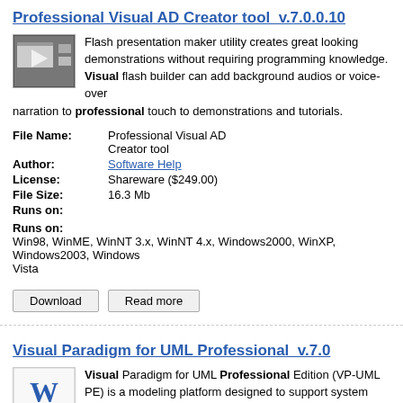Professional Visual AD Creator tool  v.7.0.0.10
Flash presentation maker utility creates great looking demonstrations without requiring programming knowledge. Visual flash builder can add background audios or voice-over narration to professional touch to demonstrations and tutorials.
| File Name: | Professional Visual AD Creator tool |
| Author: | Software Help |
| License: | Shareware ($249.00) |
| File Size: | 16.3 Mb |
| Runs on: | Win98, WinME, WinNT 3.x, WinNT 4.x, Windows2000, WinXP, Windows2003, Windows Vista |
Download  Read more
Visual Paradigm for UML Professional  v.7.0
Visual Paradigm for UML Professional Edition (VP-UML PE) is a modeling platform designed to support system architects, developers, UMLâ„¢ designers, and data modelers to accelerate the entire model-code-deploy process for complex enterprise. ...